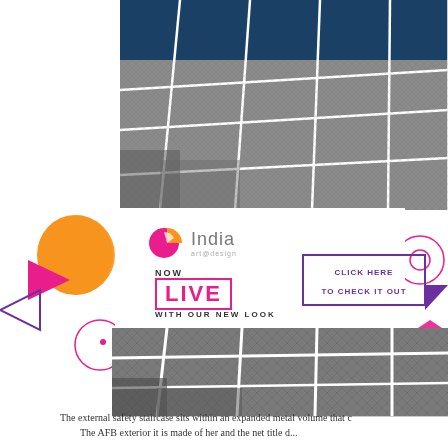[Figure (photo): Aerial/perspective view of expanded metal mesh staircase structure with white frame grid and dark blue sky background at top]
[Figure (logo): India art & design logo with pink/orange circular emblem]
NOW
LIVE
WITH OUR NEW LOOK
CLICK HERE TO CHECK IT OUT
[Figure (photo): Close-up view of expanded metal mesh safety staircase with white structural frame]
The external safety staircase sits within an expanded metal volume that c... The AFB exterior it is made of her and the net title d...